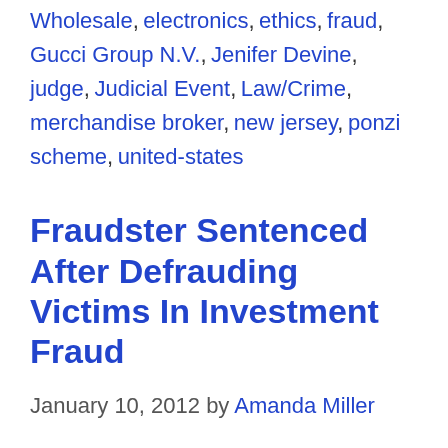Wholesale, electronics, ethics, fraud, Gucci Group N.V., Jenifer Devine, judge, Judicial Event, Law/Crime, merchandise broker, new jersey, ponzi scheme, united-states
Fraudster Sentenced After Defrauding Victims In Investment Fraud
January 10, 2012 by Amanda Miller
James DeAngelis was sentenced last week